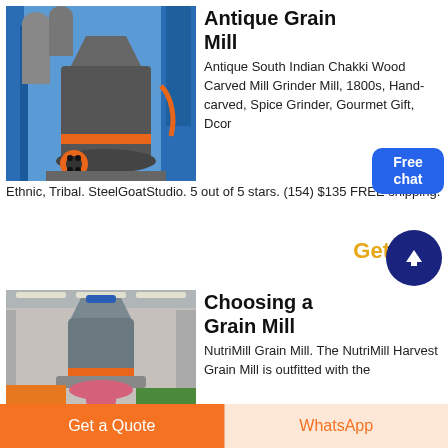[Figure (photo): Industrial grain mill machine with large cylindrical body, pipes, and blue structural framework against a blue sky.]
Antique Grain Mill
Antique South Indian Chakki Wood Carved Mill Grinder Mill, 1800s, Hand-carved, Spice Grinder, Gourmet Gift, Dcor Ethnic, Tribal. SteelGoatStudio. 5 out of 5 stars. (154) $135 FREE shipping.
Get
[Figure (photo): Large industrial grain mill machine in a warehouse/factory setting with a tall cylindrical body and pink/red base.]
Choosing a Grain Mill
NutriMill Grain Mill. The NutriMill Harvest Grain Mill is outfitted with the